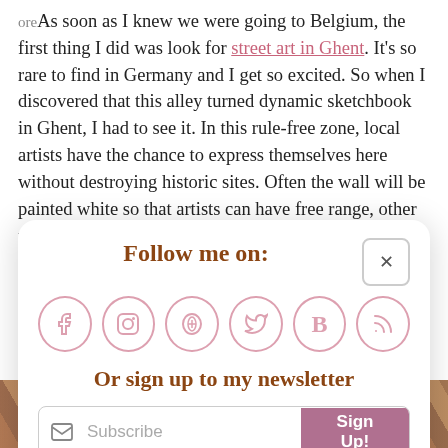As soon as I knew we were going to Belgium, the first thing I did was look for street art in Ghent. It's so rare to find in Germany and I get so excited. So when I discovered that this alley turned dynamic sketchbook in Ghent, I had to see it. In this rule-free zone, local artists have the chance to express themselves here without destroying historic sites. Often the wall will be painted white so that artists can have free range, other times it looks like a chaotic alley with tags, cartoons or impressive pieces. It's a constantly
[Figure (screenshot): A popup/modal overlay with 'Follow me on:' heading in brown handwritten font, social media icons (Facebook, Instagram, Pinterest, Twitter, Bloglovin, RSS) as pink outlined circles, 'Or sign up to my newsletter' in brown handwritten font, and a Subscribe email input with Sign Up! button in mauve.]
[Figure (photo): A partial photo strip at the bottom showing colorful street art on a brick wall with warm tones of orange, brown and colorful graffiti.]